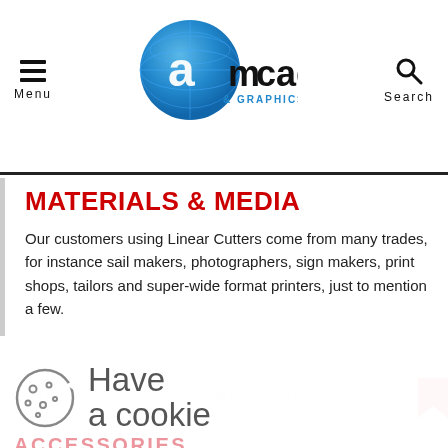[Figure (logo): AmCAD & Graphics logo with blue globe and text]
MATERIALS & MEDIA
Our customers using Linear Cutters come from many trades, for instance sail makers, photographers, sign makers, print shops, tailors and super-wide format printers, just to mention a few.
Have a cookie
ACCESSORIES
Accept the use of cookies on this site more information
I Accept